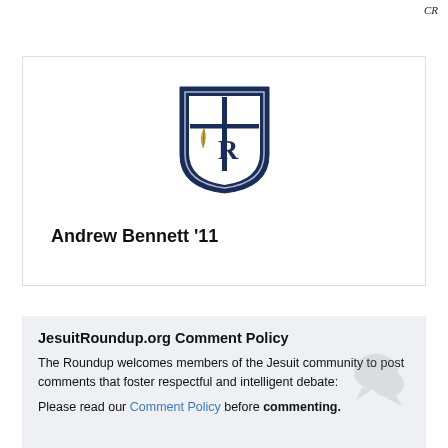CR
[Figure (logo): Jesuit Roundup shield logo with a four-pointed star and feather quill and letter R on a navy blue background]
Andrew Bennett '11
JesuitRoundup.org Comment Policy
The Roundup welcomes members of the Jesuit community to post comments that foster respectful and intelligent debate:
Please read our Comment Policy before commenting.